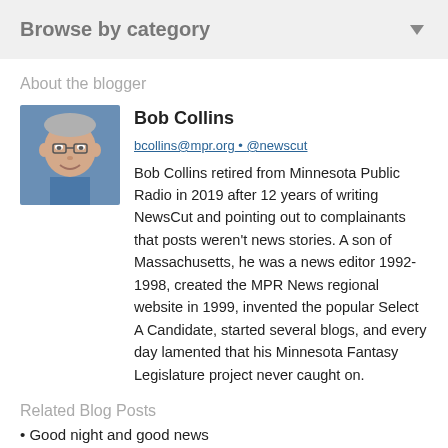Browse by category
About the blogger
[Figure (photo): Headshot of Bob Collins, a man with glasses wearing a blue sweater, smiling]
Bob Collins
bcollins@mpr.org • @newscut
Bob Collins retired from Minnesota Public Radio in 2019 after 12 years of writing NewsCut and pointing out to complainants that posts weren't news stories. A son of Massachusetts, he was a news editor 1992-1998, created the MPR News regional website in 1999, invented the popular Select A Candidate, started several blogs, and every day lamented that his Minnesota Fantasy Legislature project never caught on.
Related Blog Posts
Good night and good news